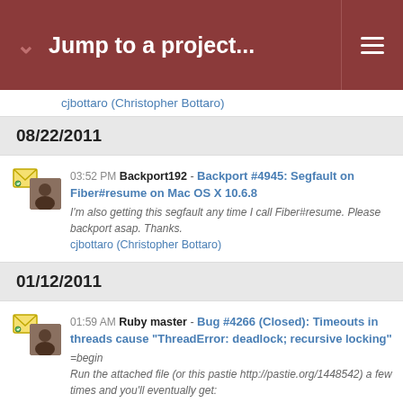Jump to a project...
cjbottaro (Christopher Bottaro)
08/22/2011
03:52 PM Backport192 - Backport #4945: Segfault on Fiber#resume on Mac OS X 10.6.8
I'm also getting this segfault any time I call Fiber#resume. Please backport asap. Thanks.
cjbottaro (Christopher Bottaro)
01/12/2011
01:59 AM Ruby master - Bug #4266 (Closed): Timeouts in threads cause "ThreadError: deadlock; recursive locking"
=begin
Run the attached file (or this pastie http://pastie.org/1448542) a few times and you'll eventually get:
...
cjbottaro (Christopher Bottaro)
07/16/2010